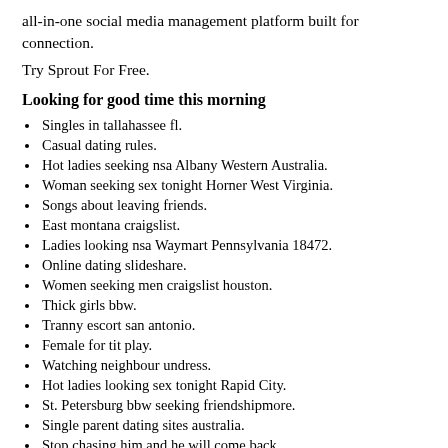all-in-one social media management platform built for connection.
Try Sprout For Free.
Looking for good time this morning
Singles in tallahassee fl.
Casual dating rules.
Hot ladies seeking nsa Albany Western Australia.
Woman seeking sex tonight Horner West Virginia.
Songs about leaving friends.
East montana craigslist.
Ladies looking nsa Waymart Pennsylvania 18472.
Online dating slideshare.
Women seeking men craigslist houston.
Thick girls bbw.
Tranny escort san antonio.
Female for tit play.
Watching neighbour undress.
Hot ladies looking sex tonight Rapid City.
St. Petersburg bbw seeking friendshipmore.
Single parent dating sites australia.
Stop chasing him and he will come back.
Beautiful wife looking real sex Greensboro.
Women having sex with male dogs.
Honeywomen of Bedford Park.